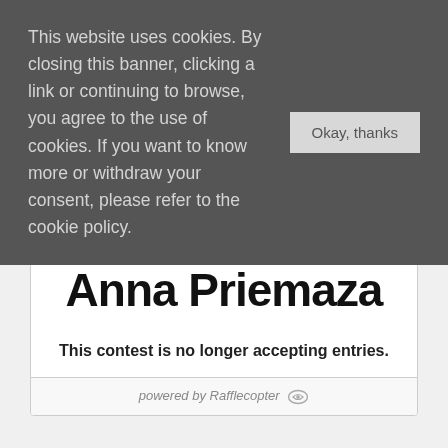This website uses cookies. By closing this banner, clicking a link or continuing to browse, you agree to the use of cookies. If you want to know more or withdraw your consent, please refer to the cookie policy.
VERA GLASS by Anna Priemaza
This contest is no longer accepting entries.
powered by Rafflecopter